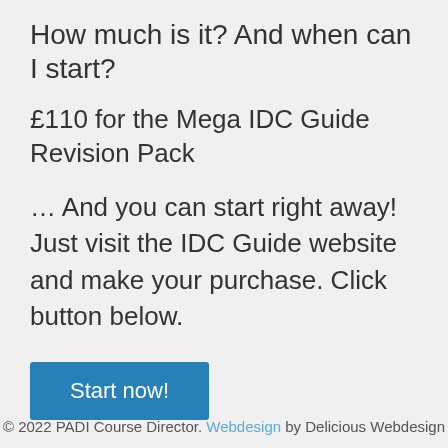How much is it? And when can I start?
£110 for the Mega IDC Guide Revision Pack
… And you can start right away! Just visit the IDC Guide website and make your purchase. Click button below.
[Figure (other): Blue 'Start now!' button]
© 2022 PADI Course Director. Webdesign by Delicious Webdesign